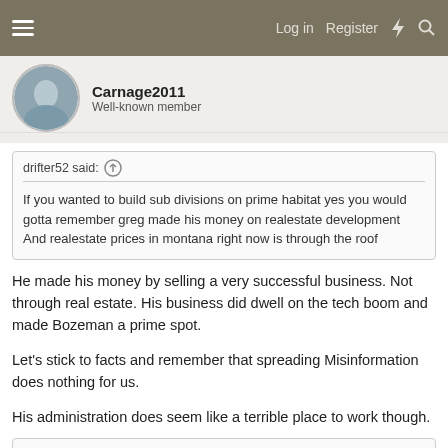Log in  Register
Carnage2011
Well-known member
drifter52 said:
If you wanted to build sub divisions on prime habitat yes you would gotta remember greg made his money on realestate development And realestate prices in montana right now is through the roof
He made his money by selling a very successful business. Not through real estate. His business did dwell on the tech boom and made Bozeman a prime spot.
Let's stick to facts and remember that spreading Misinformation does nothing for us.
His administration does seem like a terrible place to work though.